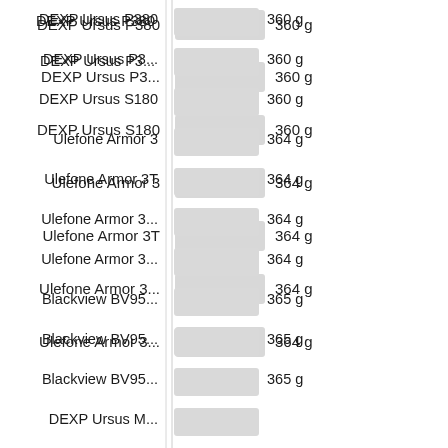[Figure (bar-chart): Smartphone weight comparison]